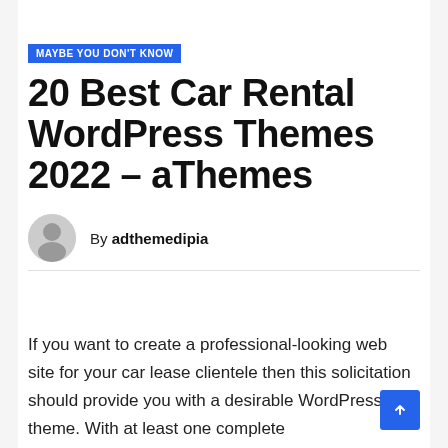MAYBE YOU DON'T KNOW
20 Best Car Rental WordPress Themes 2022 – aThemes
By adthemedipia
If you want to create a professional-looking web site for your car lease clientele then this solicitation should provide you with a desirable WordPress theme. With at least one complete